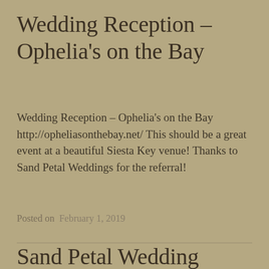Wedding Reception – Ophelia's on the Bay
Wedding Reception – Ophelia's on the Bay http://opheliasonthebay.net/ This should be a great event at a beautiful Siesta Key venue! Thanks to Sand Petal Weddings for the referral!
Posted on February 1, 2019
Sand Petal Wedding Ceremony and Champagne Cake Reception